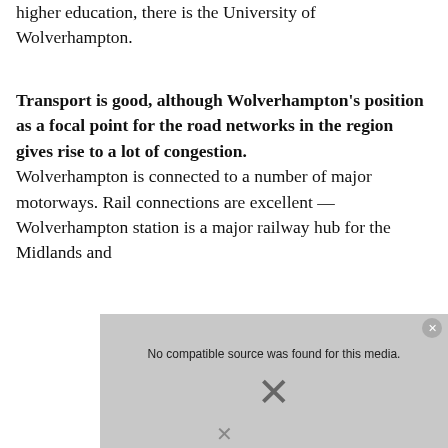higher education, there is the University of Wolverhampton.
Transport is good, although Wolverhampton's position as a focal point for the road networks in the region gives rise to a lot of congestion. Wolverhampton is connected to a number of major motorways. Rail connections are excellent — Wolverhampton station is a major railway hub for the Midlands and
[Figure (screenshot): Video player overlay showing 'No compatible source was found for this media.' message with a close button and X icon]